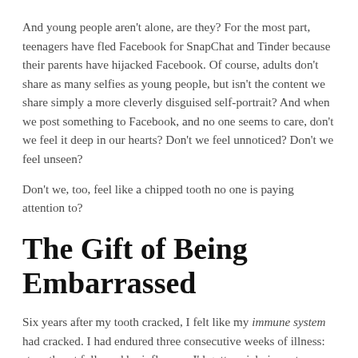And young people aren't alone, are they? For the most part, teenagers have fled Facebook for SnapChat and Tinder because their parents have hijacked Facebook. Of course, adults don't share as many selfies as young people, but isn't the content we share simply a more cleverly disguised self-portrait? And when we post something to Facebook, and no one seems to care, don't we feel it deep in our hearts? Don't we feel unnoticed? Don't we feel unseen?
Don't we, too, feel like a chipped tooth no one is paying attention to?
The Gift of Being Embarrassed
Six years after my tooth cracked, I felt like my immune system had cracked. I had endured three consecutive weeks of illness: strep throat followed by influenza. I'd gotten sick, in part, because life is messy and sick happens. But, deep down, I also knew my immune system had been compromised by long hours of work and short hours of sleep.